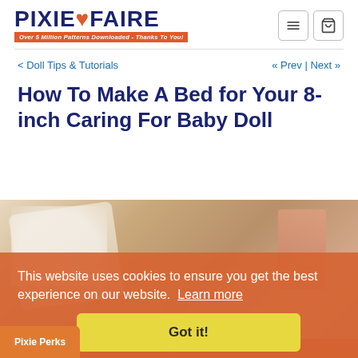PIXIE FAIRE - Over 5 Million Patterns Downloaded - Thanks To You!
< Doll Tips & Tutorials   « Prev | Next »
How To Make A Bed for Your 8-inch Caring For Baby Doll
[Figure (photo): Photo of a doll bed craft project with fluffy white decorations and a pink box, on a wooden background. Bottom bar reads: Make A Bed For an 8" Baby Doll - A Pixie Faire ♥ Tutorial]
This website uses cookies to ensure you get the best experience on our website.  Learn more
Got it!
Pixie Perks